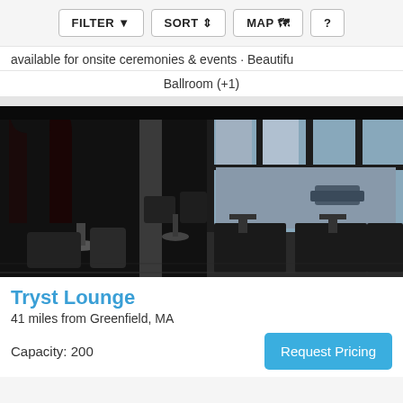FILTER  SORT  MAP  ?
available for onsite ceremonies & events · Beautifu
Ballroom (+1)
[Figure (photo): Interior of Tryst Lounge showing black leather seating, small tables, and large windows overlooking a city street]
Tryst Lounge
41 miles from Greenfield, MA
Capacity: 200
Request Pricing